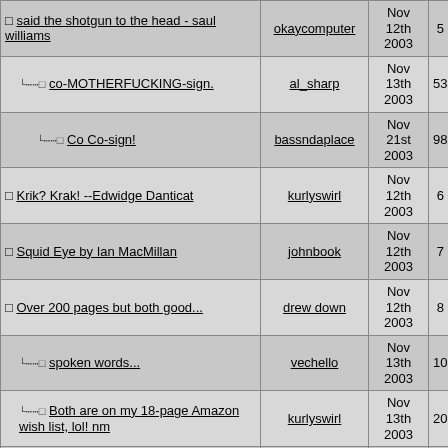| Title | User | Date | # |
| --- | --- | --- | --- |
| ☐ said the shotgun to the head - saul williams | okaycomputer | Nov 12th 2003 | 5 |
|   ↳☐ co-MOTHERFUCKING-sign. | al_sharp | Nov 13th 2003 | 53 |
|     ↳☐ Co Co-sign! | bassndaplace | Nov 21st 2003 | 98 |
| ☐ Krik? Krak! --Edwidge Danticat | kurlyswirl | Nov 12th 2003 | 6 |
| ☐ Squid Eye by Ian MacMillan | johnbook | Nov 12th 2003 | 7 |
| ☐ Over 200 pages but both good... | drew down | Nov 12th 2003 | 8 |
|   ↳☐ spoken words... | vechello | Nov 13th 2003 | 10 |
|   ↳☐ Both are on my 18-page Amazon wish list, lol! nm | kurlyswirl | Nov 13th 2003 | 20 |
|   ↳☐ Just finished the Intuitionist | johnny_domino | Nov 13th 2003 | 30 |
| ☐ The Fuck Up | love2000 | Nov 13th 2003 | 11 |
| ☐ Candide by Voltaire. | God Loves Ugly | Nov 13th 2003 | 12 |
| ☐ The Metamorphosis-Franz Kafka | Bombastic | Nov 13th 2003 | 13 |
| ☐ The Commitments-Roddy Doyle | Bombastic | Nov 13th 2003 | 14 |
| ☐ anything by... | dem_fly_up | Nov 13th 2003 | 15 |